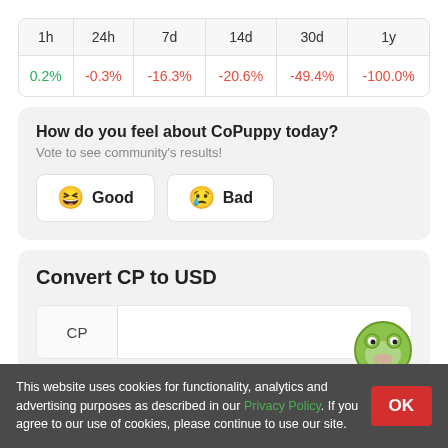| 1h | 24h | 7d | 14d | 30d | 1y |
| --- | --- | --- | --- | --- | --- |
| 0.2% | -0.3% | -16.3% | -20.6% | -49.4% | -100.0% |
How do you feel about CoPuppy today?
Vote to see community's results!
Good
Bad
Convert CP to USD
CP
This website uses cookies for functionality, analytics and advertising purposes as described in our Privacy Policy. If you agree to our use of cookies, please continue to use our site.